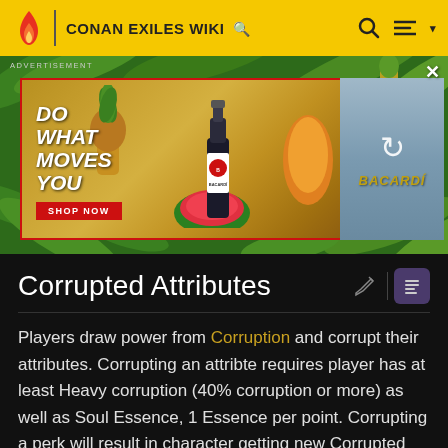CONAN EXILES WIKI
[Figure (photo): Bacardi advertisement banner with tropical fruits background. Text reads 'DO WHAT MOVES YOU' with a SHOP NOW button. Secondary image shows someone holding a Bacardi bottle with a loading/refresh icon.]
Corrupted Attributes
Players draw power from Corruption and corrupt their attributes. Corrupting an attribte requires player has at least Heavy corruption (40% corruption or more) as well as Soul Essence, 1 Essence per point. Corrupting a perk will result in character getting new Corrupted perk that will replace the old perk. Corrupted perks tend to be much more powerful. However, corrupting an attribute also